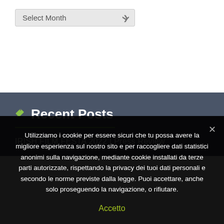[Figure (screenshot): A dropdown select element labeled 'Select Month' with a chevron arrow on the right side, shown on a white background.]
Recent Posts
IRISH FILM FESTA 2022 | Press Review
Utilizziamo i cookie per essere sicuri che tu possa avere la migliore esperienza sul nostro sito e per raccogliere dati statistici anonimi sulla navigazione, mediante cookie installati da terze parti autorizzate, rispettando la privacy dei tuoi dati personali e secondo le norme previste dalla legge. Puoi accettare, anche solo proseguendo la navigazione, o rifiutare.
Accetto